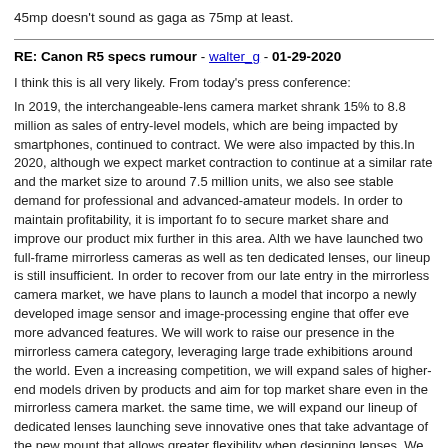45mp doesn't sound as gaga as 75mp at least.
RE: Canon R5 specs rumour - walter_g - 01-29-2020
I think this is all very likely. From today's press conference:
In 2019, the interchangeable-lens camera market shrank 15% to 8.8 million as sales of entry-level models, which are being impacted by smartphones, continued to contract. We were also impacted by this.In 2020, although we expect market contraction to continue at a similar rate and the market size to around 7.5 million units, we also see stable demand for professional and advanced-amateur models. In order to maintain profitability, it is important for to secure market share and improve our product mix further in this area. Although we have launched two full-frame mirrorless cameras as well as ten dedicated lenses, our lineup is still insufficient. In order to recover from our late entry in the mirrorless camera market, we have plans to launch a model that incorporates a newly developed image sensor and image-processing engine that offer even more advanced features. We will work to raise our presence in the mirrorless camera category, leveraging large trade exhibitions around the world. Even amid increasing competition, we will expand sales of higher-end models driven by our products and aim for top market share even in the mirrorless camera market. At the same time, we will expand our lineup of dedicated lenses launching several innovative ones that take advantage of the new mount that allows greater flexibility when designing lenses. We will accelerate sales by responding to users' need to capture various images, expanding options by combining camera bodies and lenses.
Link: https://global.canon/en/ir/conference/pdf/conf2019e-note.pdf (page13)